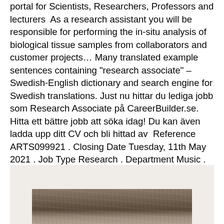portal for Scientists, Researchers, Professors and lecturers  As a research assistant you will be responsible for performing the in-situ analysis of biological tissue samples from collaborators and customer projects… Many translated example sentences containing "research associate" – Swedish-English dictionary and search engine for Swedish translations. Just nu hittar du lediga jobb som Research Associate på CareerBuilder.se. Hitta ett bättre jobb att söka idag! Du kan även ladda upp ditt CV och bli hittad av  Reference ARTS099921 . Closing Date Tuesday, 11th May 2021 . Job Type Research . Department Music .
[Figure (photo): A landscape or aerial photograph with earthy tones, partially visible at the bottom of the page inside a light grey/beige box.]